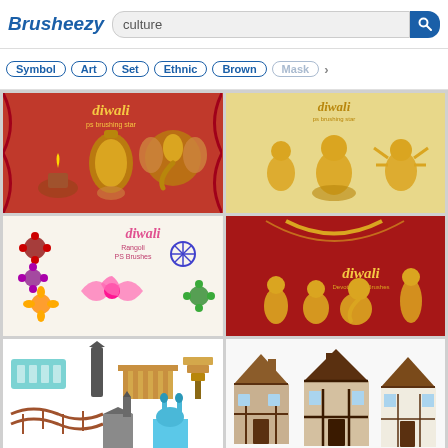Brusheezy — culture search results
Symbol | Art | Set | Ethnic | Brown | Mask >
[Figure (screenshot): Diwali PS brushes on red background with golden lanterns and Ganesha mask]
[Figure (screenshot): Diwali PS brushes on tan background with golden Buddha and deity statues]
[Figure (screenshot): Diwali Rangoli PS Brushes with colorful floral mandala patterns on cream background]
[Figure (screenshot): Diwali PS Brushes with golden statues of Hindu deities on red background]
[Figure (screenshot): Architecture brush set with various world buildings and landmarks on white background]
[Figure (screenshot): Houses set with cartoon-style illustrated house buildings on white background]